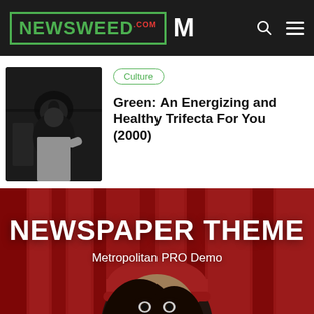NEWSWEED.COM — Metropolitan PRO Demo
[Figure (photo): Dark studio photo of a person with microphone and headphones]
Culture
Green: An Energizing and Healthy Trifecta For You (2000)
[Figure (photo): Young woman wearing a red beanie hat against red background, with NEWSPAPER THEME Metropolitan PRO Demo overlay text]